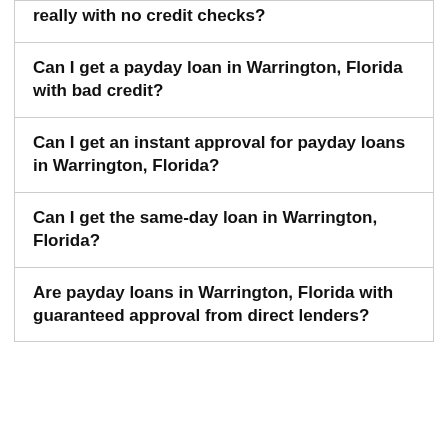really with no credit checks?
Can I get a payday loan in Warrington, Florida with bad credit?
Can I get an instant approval for payday loans in Warrington, Florida?
Can I get the same-day loan in Warrington, Florida?
Are payday loans in Warrington, Florida with guaranteed approval from direct lenders?